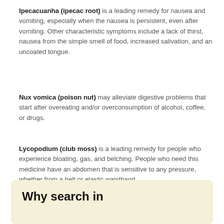Ipecacuanha (ipecac root) is a leading remedy for nausea and vomiting, especially when the nausea is persistent, even after vomiting. Other characteristic symptoms include a lack of thirst, nausea from the simple smell of food, increased salivation, and an uncoated tongue.
Nux vomica (poison nut) may alleviate digestive problems that start after overeating and/or overconsumption of alcohol, coffee, or drugs.
Lycopodium (club moss) is a leading remedy for people who experience bloating, gas, and belching. People who need this medicine have an abdomen that is sensitive to any pressure, whether from a belt or elastic waistband.
Why search in